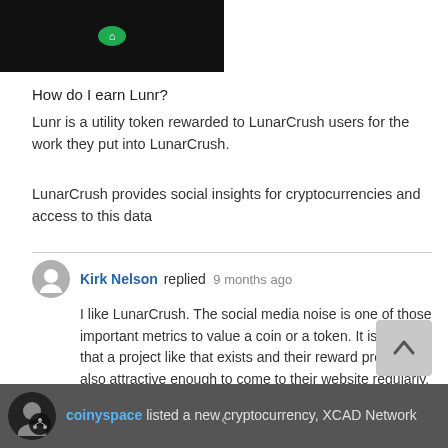[Figure (photo): Dark/black image area with a small green logo visible at top, partial crop of a website screenshot]
How do I earn Lunr?
Lunr is a utility token rewarded to LunarCrush users for the work they put into LunarCrush.
LunarCrush provides social insights for cryptocurrencies and access to this data
Kirk Nelson replied 9 months ago

I like LunarCrush. The social media noise is one of those important metrics to value a coin or a token. It is good that a project like that exists and their reward program is also attractive enough to come to their website regularly.
coinyspace listed a new cryptocurrency, XCAD Network